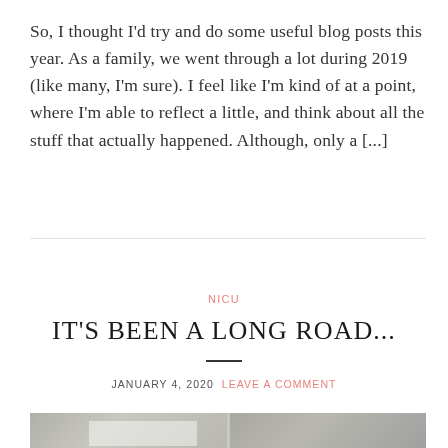So, I thought I'd try and do some useful blog posts this year. As a family, we went through a lot during 2019 (like many, I'm sure). I feel like I'm kind of at a point, where I'm able to reflect a little, and think about all the stuff that actually happened. Although, only a [...]
NICU
IT'S BEEN A LONG ROAD...
JANUARY 4, 2020  LEAVE A COMMENT
[Figure (photo): A black and white photo strip showing two side-by-side grayscale images, partially visible at the bottom of the page.]